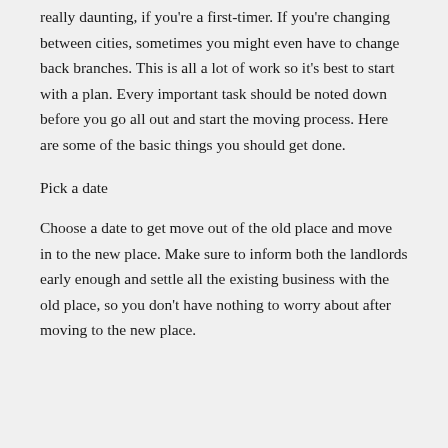really daunting, if you're a first-timer. If you're changing between cities, sometimes you might even have to change back branches. This is all a lot of work so it's best to start with a plan. Every important task should be noted down before you go all out and start the moving process. Here are some of the basic things you should get done.
Pick a date
Choose a date to get move out of the old place and move in to the new place. Make sure to inform both the landlords early enough and settle all the existing business with the old place, so you don't have nothing to worry about after moving to the new place.